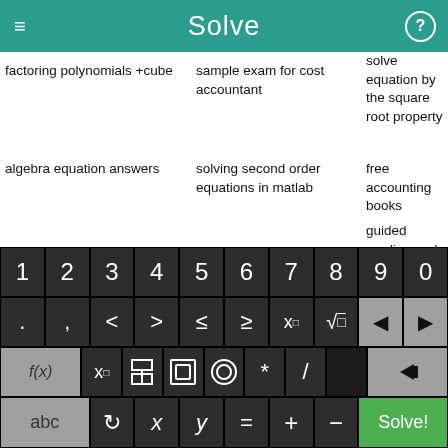Solve
factoring polynomials +cube
sample exam for cost accountant
solve equation by the square root property
how pe cal
algebra equation answers
solving second order equations in matlab
free accounting books
ma wor
guided reading and study
Wh Fu
factoring math print out
trick for solving
[Figure (screenshot): Calculator keyboard with number keys 1-9,0; symbol keys including . , < > ≤ ≥ x□ √□ and arrows; function keys f(x), x□, fraction, absolute value, parentheses, *, /; bottom row with abc, rotation, x, y, =, +, -, and green Solve! button]